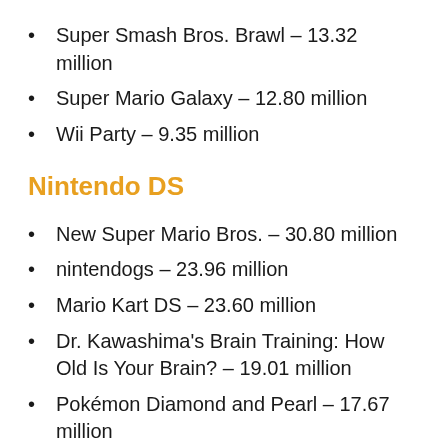Super Smash Bros. Brawl – 13.32 million
Super Mario Galaxy – 12.80 million
Wii Party – 9.35 million
Nintendo DS
New Super Mario Bros. – 30.80 million
nintendogs – 23.96 million
Mario Kart DS – 23.60 million
Dr. Kawashima's Brain Training: How Old Is Your Brain? – 19.01 million
Pokémon Diamond and Pearl – 17.67 million
Pokémon Black and White – 15.64 million
More Brain Training: How Old Is Your